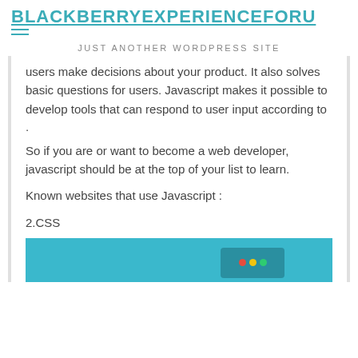BLACKBERRYEXPERIENCEFORU
JUST ANOTHER WORDPRESS SITE
users make decisions about your product. It also solves basic questions for users. Javascript makes it possible to develop tools that can respond to user input according to
.
So if you are or want to become a web developer, javascript should be at the top of your list to learn.
Known websites that use Javascript :
2.CSS
[Figure (screenshot): A teal/cyan colored image placeholder at the bottom of the page, showing a partial screenshot with a dark device/browser element with colored dots (red, yellow, green).]